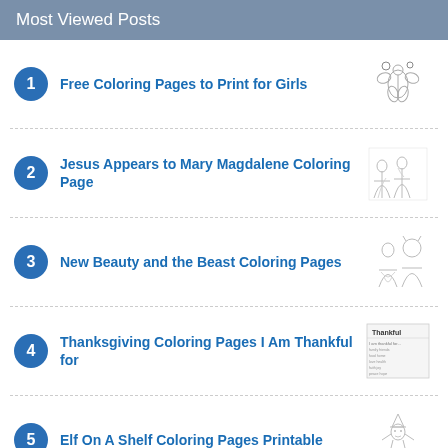Most Viewed Posts
Free Coloring Pages to Print for Girls
Jesus Appears to Mary Magdalene Coloring Page
New Beauty and the Beast Coloring Pages
Thanksgiving Coloring Pages I Am Thankful for
Elf On A Shelf Coloring Pages Printable